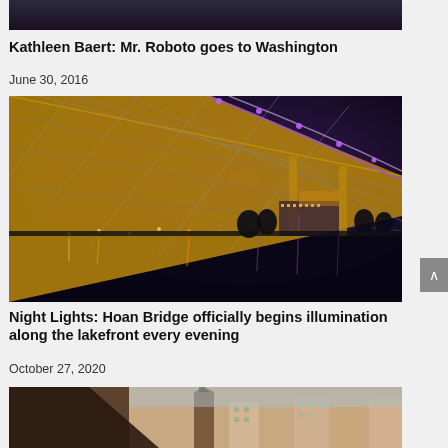[Figure (photo): Partial view of a dark photograph at the top of the page, showing people in dark clothing]
Kathleen Baert: Mr. Roboto goes to Washington
June 30, 2016
[Figure (photo): Night photo of the Hoan Bridge illuminated with purple and orange lights reflecting on the water, with city buildings in background]
Night Lights: Hoan Bridge officially begins illumination along the lakefront every evening
October 27, 2020
[Figure (photo): Partial view of a third article's photo at the bottom of the page]